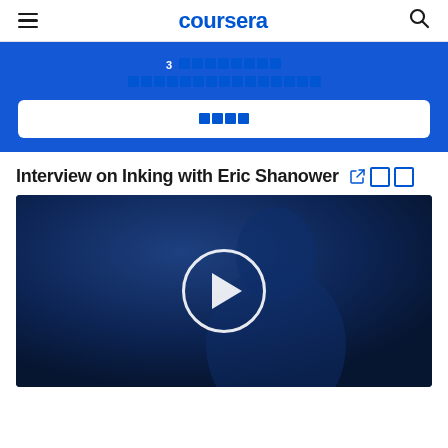coursera
3 □□□□□□□□ □□□□□□□□□□□□□□□□□
□□□□
Interview on Inking with Eric Shanower
[Figure (screenshot): Video thumbnail showing a person in dark blue background with a large white circle play button in the center]